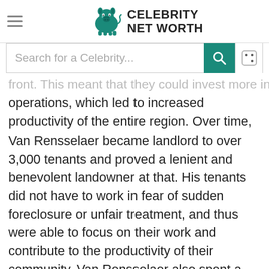Celebrity Net Worth
Search for a Celebrity...
front. This meant that they could invest more in their operations, which led to increased productivity of the entire region. Over time, Van Rensselaer became landlord to over 3,000 tenants and proved a lenient and benevolent landowner at that. His tenants did not have to work in fear of sudden foreclosure or unfair treatment, and thus were able to focus on their work and contribute to the productivity of their community. Van Rensselaer also spent a considerable amount of time in political pursuits; it is said this was rooted in a sense of duty rather than out of ambition. He was a member of the New York State Assembly from 1789-1791 and the New York State Senate from 1791-1796. He was Lieutenant Governor of New York from 1795-1801 and